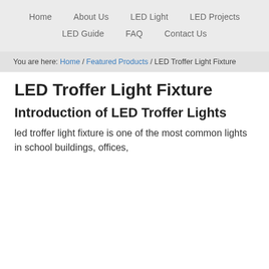Home   About Us   LED Light   LED Projects   LED Guide   FAQ   Contact Us
You are here: Home / Featured Products / LED Troffer Light Fixture
LED Troffer Light Fixture
Introduction of LED Troffer Lights
led troffer light fixture is one of the most common lights in school buildings, offices,